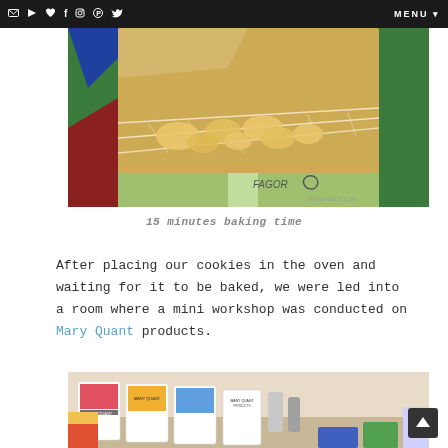✉ ▶ ♥ f ⊕ ⊛ ▼  MENU ▼
[Figure (photo): Photo of cookies baking in a Fagor oven, viewed through the glass door. The oven interior shows a wire rack with small cookie shapes on it. The exterior is colorful (green, red, blue design). A watermark reads 'PEANUTBLOG.COM' at the bottom right.]
15 minutes baking time
After placing our cookies in the oven and waiting for it to be baked, we were led into a room where a mini workshop was conducted on Mary Quant products.
[Figure (photo): Photo of a table with Mary Quant beauty products displayed on it, including cards and various cosmetic items. The scene is a mini workshop setup.]